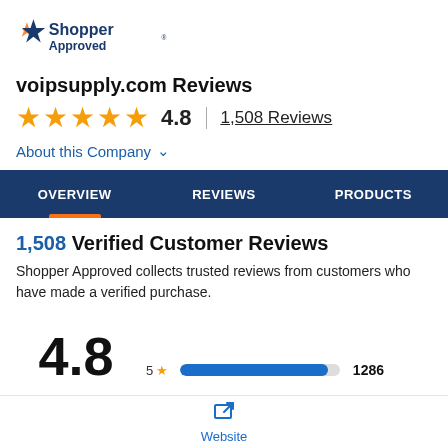[Figure (logo): ShopperApproved logo with blue star and orange accent, text 'Shopper Approved' in dark blue]
voipsupply.com Reviews
★★★★★ 4.8 | 1,508 Reviews
About this Company ∨
OVERVIEW | REVIEWS | PRODUCTS
1,508 Verified Customer Reviews
Shopper Approved collects trusted reviews from customers who have made a verified purchase.
4.8   5★ ████████████ 1286
[Figure (screenshot): Website link icon with label 'Website']